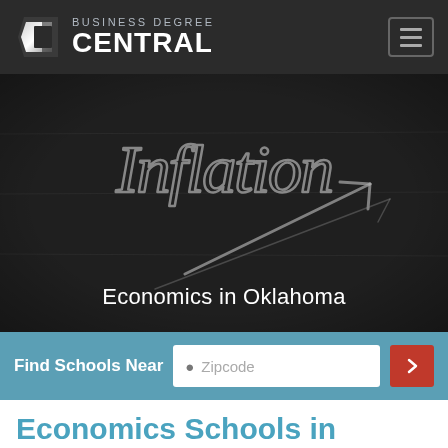Business Degree Central
[Figure (screenshot): Chalkboard with the word 'Inflation' written in chalk script with an upward-pointing arrow drawn below it, dark background educational image]
Economics in Oklahoma
Find Schools Near [Zipcode search input] [Search button]
Economics Schools in